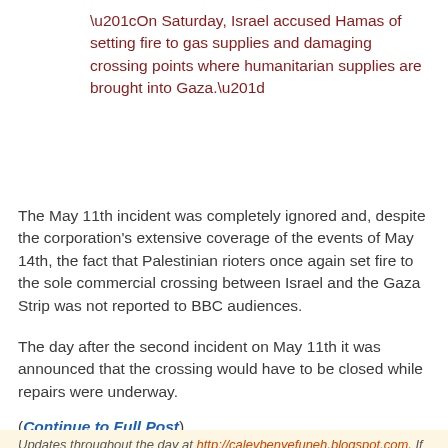“On Saturday, Israel accused Hamas of setting fire to gas supplies and damaging crossing points where humanitarian supplies are brought into Gaza.”
The May 11th incident was completely ignored and, despite the corporation’s extensive coverage of the events of May 14th, the fact that Palestinian rioters once again set fire to the sole commercial crossing between Israel and the Gaza Strip was not reported to BBC audiences.
The day after the second incident on May 11th it was announced that the crossing would have to be closed while repairs were underway.
(Continue to Full Post)
Updates throughout the day at http://calevbenyefuneh.blogspot.com. If you enjoy “Love of the Land”, please be a subscriber. Just put your email address in the “Subscribe” box on the upper right-hand corner of the page. Twitter updates at LoveoftheLand as well as our Love of the Land